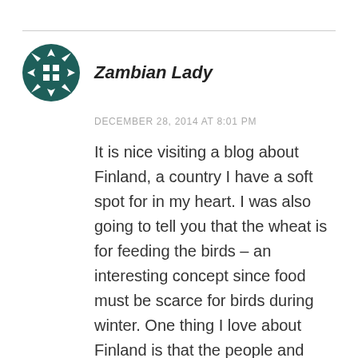[Figure (logo): Circular avatar icon with a dark teal snowflake/cross pattern with square cut-outs on a white background]
Zambian Lady
DECEMBER 28, 2014 AT 8:01 PM
It is nice visiting a blog about Finland, a country I have a soft spot for in my heart. I was also going to tell you that the wheat is for feeding the birds – an interesting concept since food must be scarce for birds during winter. One thing I love about Finland is that the people and nature still seem unadulterated even though they are a